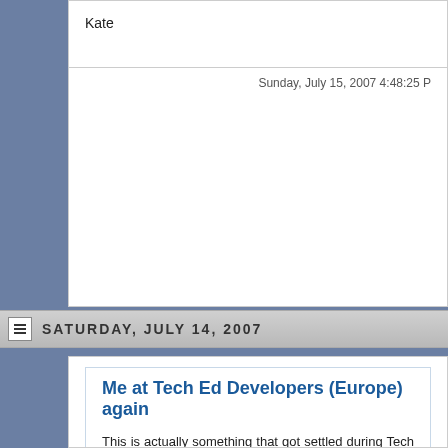Kate
Sunday, July 15, 2007 4:48:25 P
SATURDAY, JULY 14, 2007
Me at Tech Ed Developers (Europe) again
This is actually something that got settled during Tech Ed USA bu things I intended to blog didn't get blogged. Now I see myself listed told them, "flattery will get you everywhere" and they're going for it)
My talks? The C++/Vista talk I did in the USA, plus a managed-co an abstract for that.
This will be my third trip to Barcelona. Will this be the year I do th so!
Kate